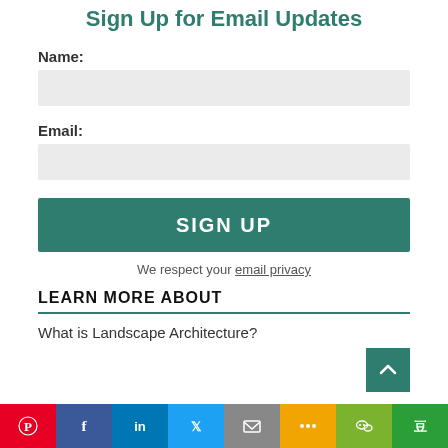Sign Up for Email Updates
Name:
Email:
SIGN UP
We respect your email privacy
LEARN MORE ABOUT
What is Landscape Architecture?